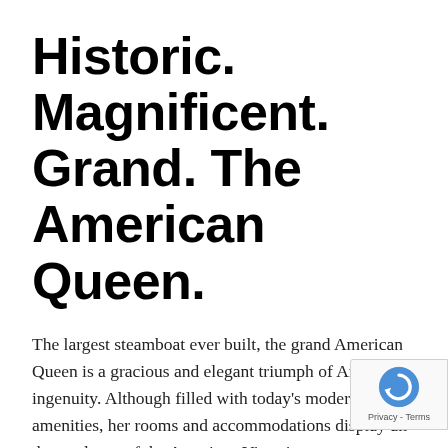Historic. Magnificent. Grand. The American Queen.
The largest steamboat ever built, the grand American Queen is a gracious and elegant triumph of American ingenuity. Although filled with today's modern amenities, her rooms and accommodations display all the opulence of the American Victorian era.  Glistening woodwork, fresh flowers and antiques adorn her interior spaces. Outside, lacy filigree evokes memories of the many stately river steamers that preceded her and so inspired her designers.